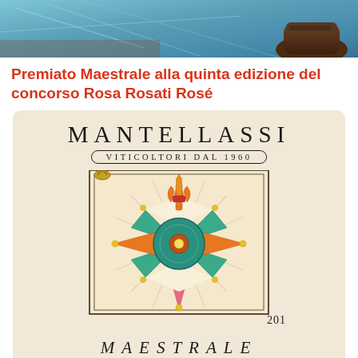[Figure (photo): Top portion of photo showing blue/teal water or icy surface with a brown shoe/boot visible at the right edge]
Premiato Maestrale alla quinta edizione del concorso Rosa Rosati Rosé
[Figure (illustration): Mantellassi wine label for Maestrale 2013. Cream/beige background with MANTELLASSI in large serif letters, subtitle VITICOLTORI DAL 1960 in oval border, decorative compass rose illustration in center with orange, teal, green and yellow colors, fleur-de-lis at top, year 2013 at bottom right, and MAESTRALE text at bottom.]